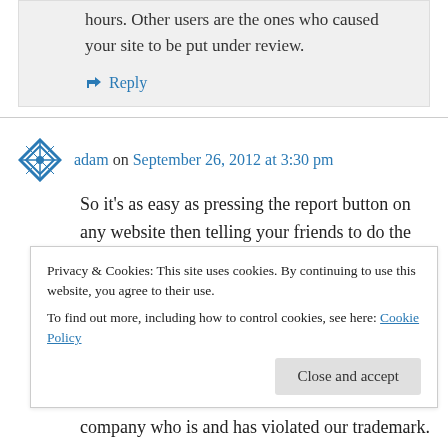hours. Other users are the ones who caused your site to be put under review.
↳ Reply
adam on September 26, 2012 at 3:30 pm
So it's as easy as pressing the report button on any website then telling your friends to do the same to get your competitors site taken down . Surely you must have a procedure for handling inappropriate reporting? Both our websites which
Privacy & Cookies: This site uses cookies. By continuing to use this website, you agree to their use.
To find out more, including how to control cookies, see here: Cookie Policy
Close and accept
company who is and has violated our trademark.